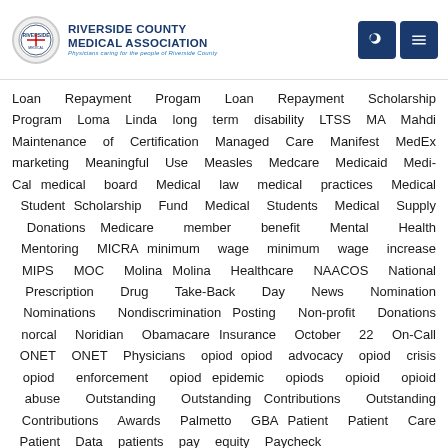RIVERSIDE COUNTY MEDICAL ASSOCIATION — Physicians caring for the people of Riverside County
Loan Repayment Progam Loan Repayment Scholarship Program Loma Linda long term disability LTSS MA Mahdi Maintenance of Certification Managed Care Manifest MedEx marketing Meaningful Use Measles Medcare Medicaid Medi-Cal medical board Medical law medical practices Medical Student Scholarship Fund Medical Students Medical Supply Donations Medicare member benefit Mental Health Mentoring MICRA minimum wage minimum wage increase MIPS MOC Molina Molina Healthcare NAACOS National Prescription Drug Take-Back Day News Nomination Nominations Nondiscrimination Posting Non-profit Donations norcal Noridian Obamacare Insurance October 22 On-Call ONET ONET Physicians opiod opiod advocacy opiod crisis opiod enforcement opiod epidemic opiods opioid opioid abuse Outstanding Outstanding Contributions Outstanding Contributions Awards Palmetto GBA Patient Patient Care Patient Data patients pay equity Paycheck